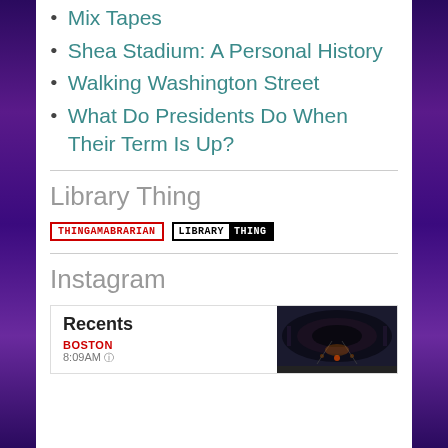Mix Tapes
Shea Stadium: A Personal History
Walking Washington Street
What Do Presidents Do When Their Term Is Up?
Library Thing
[Figure (logo): Two badge logos: THINGAMABRARIAN (red border, red text) and LIBRARY THING (black border, black/white split)]
Instagram
[Figure (screenshot): Instagram widget showing Recents tab with BOSTON label and a photo of a subway tunnel]